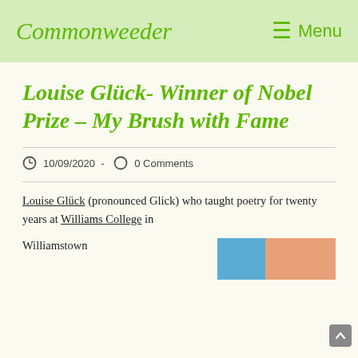Commonweeder  ☰ Menu
Louise Glück- Winner of Nobel Prize – My Brush with Fame
10/09/2020  -  0 Comments
Louise Glück (pronounced Glick) who taught poetry for twenty years at Williams College in
Williamstown